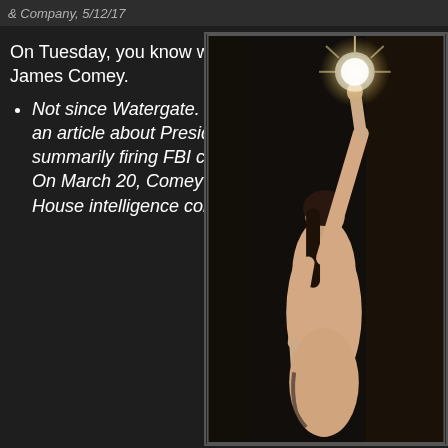& Company, 5/12/17
On Tuesday, you know who fired FBI Director James Comey.
Not since Watergate. How else can one start an article about President Donald Trump summarily firing FBI chief James Comey? On March 20, Comey appeared before the House intelligence committee and
[Figure (illustration): Classical painting of a nude female figure holding a glowing orb aloft with one raised arm, dark background in a vertical format.]